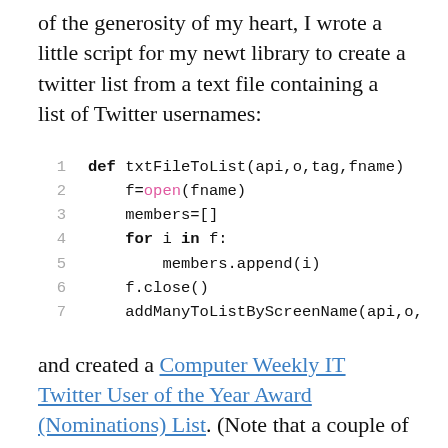of the generosity of my heart, I wrote a little script for my newt library to create a twitter list from a text file containing a list of Twitter usernames:
[Figure (screenshot): Python code block with line numbers 1-7 and a green vertical bar. Code shows a function txtFileToList(api,o,tag,fname) with def, open (in pink), for, in keywords highlighted in bold.]
and created a Computer Weekly IT Twitter User of the Year Award (Nominations) List. (Note that a couple of nominations on the list appear as typos… it's left as an exercise for the reader to identify which ones;-)